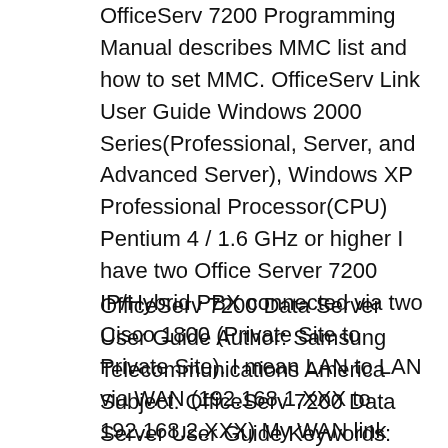OfficeServ 7200 Programming Manual describes MMC list and how to set MMC. OfficeServ Link User Guide Windows 2000 Series(Professional, Server, and Advanced Server), Windows XP Professional Processor(CPU) Pentium 4 / 1.6 GHz or higher I have two Office Server 7200 IP/Hybrid PBX connected via two Cisco 1800 (Private Site to Private Site). I mean LAN to LAN via WAN (192.168.1.XXX to 192.168.2.XXX) My WAN link provider, say I don't...
OfficeServ 7200 Data Server User Guide Author: Samsung Telecommunications America Subject: OfficeServ 7200 Data Server User Guide Keywords: OfficeServ 7200 Data Server User Guide Created